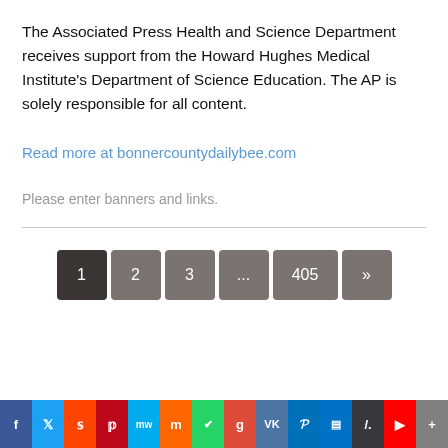The Associated Press Health and Science Department receives support from the Howard Hughes Medical Institute's Department of Science Education. The AP is solely responsible for all content.
Read more at bonnercountydailybee.com
Please enter banners and links.
[Figure (other): Pagination bar with buttons: 1 (active/dark), 2, 3, ..., 405, »]
[Figure (other): Social sharing bar with icons: Facebook, Twitter, Reddit, Pinterest, MeWe, Mix, WhatsApp, Google, VK, PayPal, Outlook, Slashdot, YouTube, Plus]